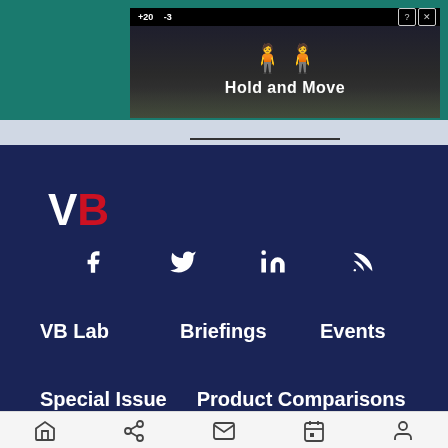[Figure (screenshot): Advertisement banner showing 'Hold and Move' game/app with blue figure and trees background, with question mark and X close buttons]
[Figure (logo): VB (VentureBeat) logo in white and red on dark navy background]
f  Twitter  in  RSS
VB Lab
Briefings
Events
Special Issue
Product Comparisons
Home  Share  Mail  Calendar  Profile